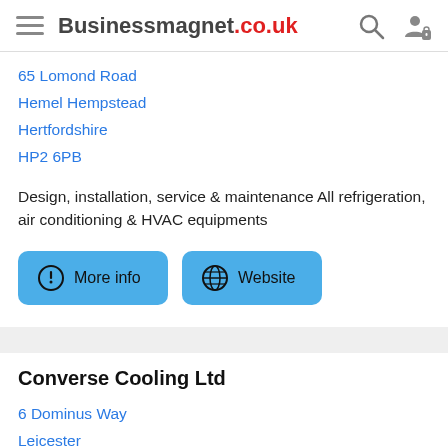Businessmagnet.co.uk
65 Lomond Road
Hemel Hempstead
Hertfordshire
HP2 6PB
Design, installation, service & maintenance All refrigeration, air conditioning & HVAC equipments
[Figure (other): More info and Website buttons]
Converse Cooling Ltd
6 Dominus Way
Leicester
Leicestershire
LE19 1RP